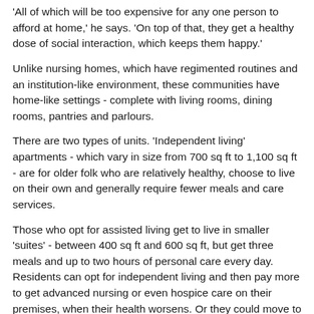'All of which will be too expensive for any one person to afford at home,' he says. 'On top of that, they get a healthy dose of social interaction, which keeps them happy.'
Unlike nursing homes, which have regimented routines and an institution-like environment, these communities have home-like settings - complete with living rooms, dining rooms, pantries and parlours.
There are two types of units. 'Independent living' apartments - which vary in size from 700 sq ft to 1,100 sq ft - are for older folk who are relatively healthy, choose to live on their own and generally require fewer meals and care services.
Those who opt for assisted living get to live in smaller 'suites' - between 400 sq ft and 600 sq ft, but get three meals and up to two hours of personal care every day. Residents can opt for independent living and then pay more to get advanced nursing or even hospice care on their premises, when their health worsens. Or they could move to smaller suites and pay roughly the same rates for more care.